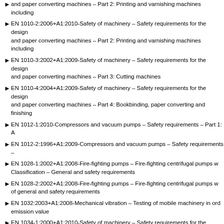and paper converting machines – Part 2: Printing and varnishing machines including
EN 1010-2:2006+A1:2010-Safety of machinery – Safety requirements for the design and paper converting machines – Part 2: Printing and varnishing machines including
EN 1010-3:2002+A1:2009-Safety of machinery – Safety requirements for the design and paper converting machines – Part 3: Cutting machines
EN 1010-4:2004+A1:2009-Safety of machinery – Safety requirements for the design and paper converting machines – Part 4: Bookbinding, paper converting and finishing
EN 1012-1:2010-Compressors and vacuum pumps – Safety requirements – Part 1: A
EN 1012-2:1996+A1:2009-Compressors and vacuum pumps – Safety requirements –
EN 1028-1:2002+A1:2008-Fire-fighting pumps – Fire-fighting centrifugal pumps w Classification – General and safety requirements
EN 1028-2:2002+A1:2008-Fire-fighting pumps – Fire-fighting centrifugal pumps w of general and safety requirements
EN 1032:2003+A1:2008-Mechanical vibration – Testing of mobile machinery in ord emission value
EN 1034-1:2000+A1:2010-Safety of machinery – Safety requirements for the design making and finishing machines – Part 1: Common requirements
EN 1034-13:2005+A1:2009-Safety of machinery – Safety requirements for the design